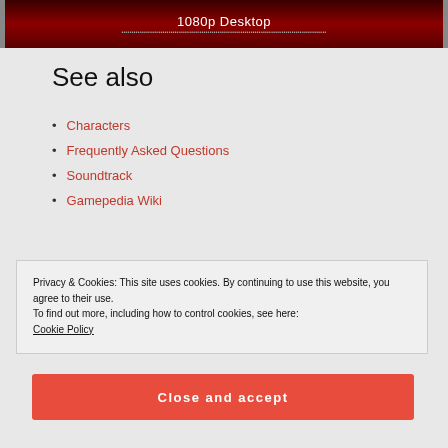[Figure (screenshot): Dark red banner with text '1080p Desktop' and a subtitle URL text below it]
See also
Characters
Frequently Asked Questions
Soundtrack
Gamepedia Wiki
Privacy & Cookies: This site uses cookies. By continuing to use this website, you agree to their use.
To find out more, including how to control cookies, see here:
Cookie Policy
Close and accept